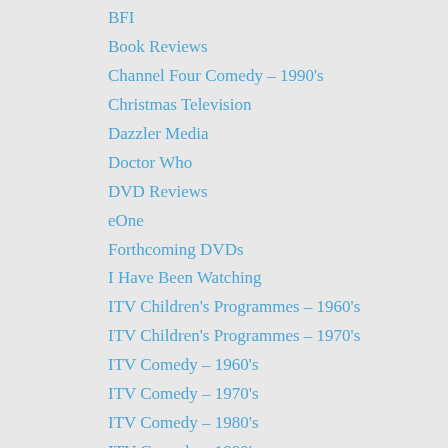BFI
Book Reviews
Channel Four Comedy – 1990's
Christmas Television
Dazzler Media
Doctor Who
DVD Reviews
eOne
Forthcoming DVDs
I Have Been Watching
ITV Children's Programmes – 1960's
ITV Children's Programmes – 1970's
ITV Comedy – 1960's
ITV Comedy – 1970's
ITV Comedy – 1980's
ITV Comedy – 1990's
ITV Documentaries
ITV Drama – 1950's
ITV Drama – 1960's
ITV Drama – 1970's